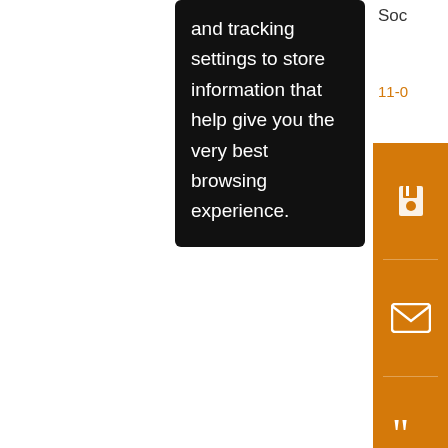[Figure (screenshot): A website interface screenshot showing a black tooltip/popup box with white text reading 'and tracking settings to store information that help give you the very best browsing experience.' overlaid on a white content area. On the right side is an orange vertical sidebar with icons for save, email, quote, annotation, and share. Above the orange sidebar is truncated text 'Soc' in black and '11-0' in orange. Below the sidebar are partial lines of body text: 'Chi', 'and', 'Exp', 'mo', 'sav', 'des'. The lower portion shows a white content area separated by a thin horizontal line.]